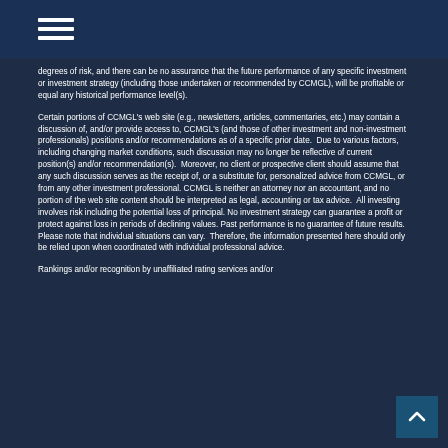degrees of risk, and there can be no assurance that the future performance of any specific investment or investment strategy (including those undertaken or recommended by CCMGL), will be profitable or equal any historical performance level(s).
Certain portions of CCMGL’s web site (e.g., newsletters, articles, commentaries, etc.) may contain a discussion of, and/or provide access to, CCMGL’s (and those of other investment and non-investment professionals) positions and/or recommendations as of a specific prior date.  Due to various factors, including changing market conditions, such discussion may no longer be reflective of current position(s) and/or recommendation(s).  Moreover, no client or prospective client should assume that any such discussion serves as the receipt of, or a substitute for, personalized advice from CCMGL, or from any other investment professional. CCMGL is neither an attorney nor an accountant, and no portion of the web site content should be interpreted as legal, accounting or tax advice.  All investing involves risk including the potential loss of principal. No investment strategy can guarantee a profit or protect against loss in periods of declining values. Past performance is no guarantee of future results. Please note that individual situations can vary.  Therefore, the information presented here should only be relied upon when coordinated with individual professional advice.
Rankings and/or recognition by unaffiliated rating services and/or